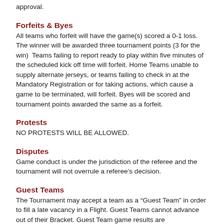approval.
Forfeits & Byes
All teams who forfeit will have the game(s) scored a 0-1 loss.  The winner will be awarded three tournament points (3 for the win)  Teams failing to report ready to play within five minutes of the scheduled kick off time will forfeit.  Home Teams unable to supply alternate jerseys, or teams failing to check in at the Mandatory Registration or for taking actions, which cause a game to be terminated, will forfeit.  Byes will be scored and tournament points awarded the same as a forfeit.
Protests
NO PROTESTS WILL BE ALLOWED.
Disputes
Game conduct is under the jurisdiction of the referee and the tournament will not overrule a referee’s decision.
Guest Teams
The Tournament may accept a team as a “Guest Team” in order to fill a late vacancy in a Flight. Guest Teams cannot advance out of their Bracket. Guest Team game results are predetermined to be a 1-0 against the Guest team. The opposing team is awarded eight points.